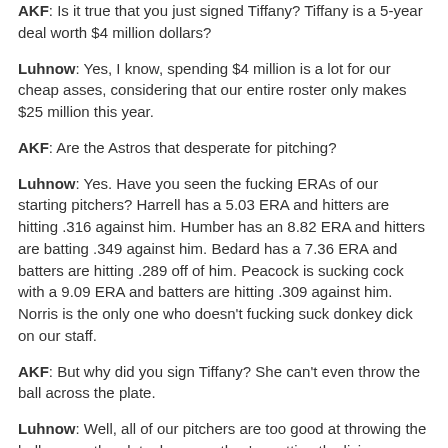AKF: Is it true that you just signed Tiffany? Tiffany is a 5-year deal worth $4 million dollars?
Luhnow: Yes, I know, spending $4 million is a lot for our cheap asses, considering that our entire roster only makes $25 million this year.
AKF: Are the Astros that desperate for pitching?
Luhnow: Yes. Have you seen the fucking ERAs of our starting pitchers? Harrell has a 5.03 ERA and hitters are hitting .316 against him. Humber has an 8.82 ERA and hitters are batting .349 against him. Bedard has a 7.36 ERA and batters are hitting .289 off of him. Peacock is sucking cock with a 9.09 ERA and batters are hitting .309 against him. Norris is the only one who doesn't fucking suck donkey dick on our staff.
AKF: But why did you sign Tiffany? She can't even throw the ball across the plate.
Luhnow: Well, all of our pitchers are too good at throwing the ball across the plate, because they're getting the living